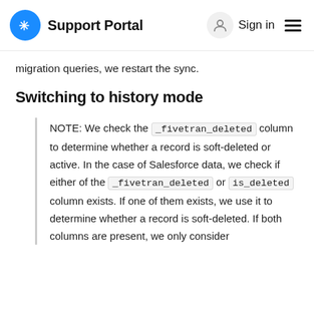Support Portal  Sign in
migration queries, we restart the sync.
Switching to history mode
NOTE: We check the _fivetran_deleted column to determine whether a record is soft-deleted or active. In the case of Salesforce data, we check if either of the _fivetran_deleted or is_deleted column exists. If one of them exists, we use it to determine whether a record is soft-deleted. If both columns are present, we only consider